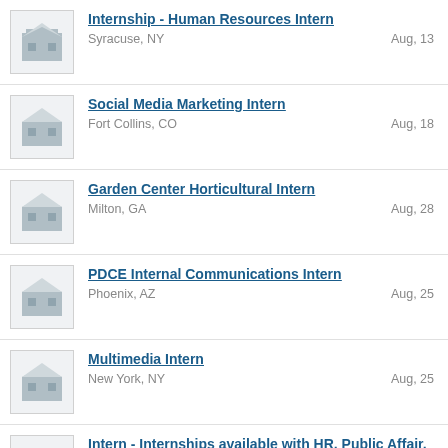Internship - Human Resources Intern | Syracuse, NY | Aug, 13
Social Media Marketing Intern | Fort Collins, CO | Aug, 18
Garden Center Horticultural Intern | Milton, GA | Aug, 28
PDCE Internal Communications Intern | Phoenix, AZ | Aug, 25
Multimedia Intern | New York, NY | Aug, 25
Intern - Internships available with HR, Public Affair, Marketing | Woodbury, NJ | Jul, 27